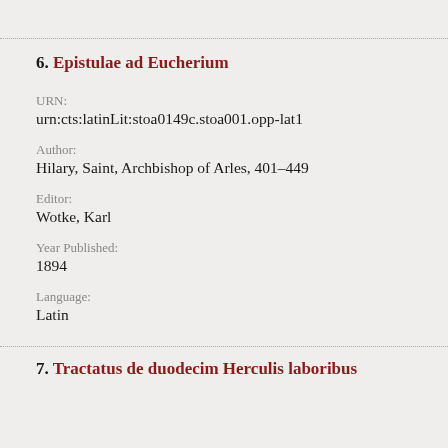6. Epistulae ad Eucherium
URN:	urn:cts:latinLit:stoa0149c.stoa001.opp-lat1
Author:
Hilary, Saint, Archbishop of Arles, 401-449
Editor:
Wotke, Karl
Year Published:
1894
Language:
Latin
7. Tractatus de duodecim Herculis laboribus